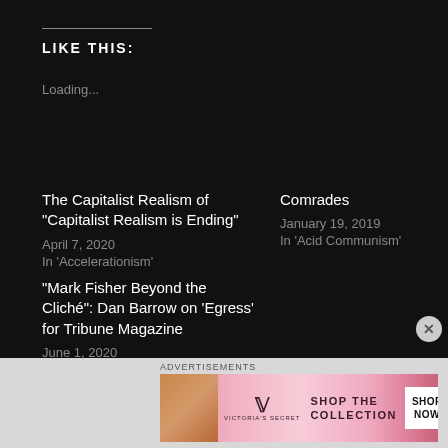LIKE THIS:
Loading...
The Capitalist Realism of "Capitalist Realism is Ending"
April 7, 2020
In 'Accelerationism'
Comrades
January 19, 2019
In 'Acid Communism'
"Mark Fisher Beyond the Cliché": Dan Barrow on 'Egress' for Tribune Magazine
June 1, 2020
[Figure (screenshot): Victoria's Secret advertisement banner with pink background, model photo, VS logo, 'SHOP THE COLLECTION' text and 'SHOP NOW' button]